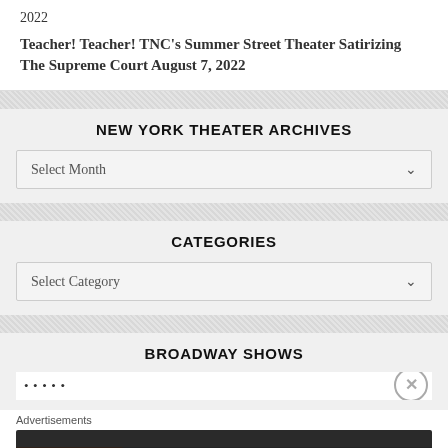2022
Teacher! Teacher! TNC's Summer Street Theater Satirizing The Supreme Court August 7, 2022
NEW YORK THEATER ARCHIVES
Select Month
CATEGORIES
Select Category
BROADWAY SHOWS
[Figure (infographic): Seamless food delivery advertisement banner showing pizza and ORDER NOW button]